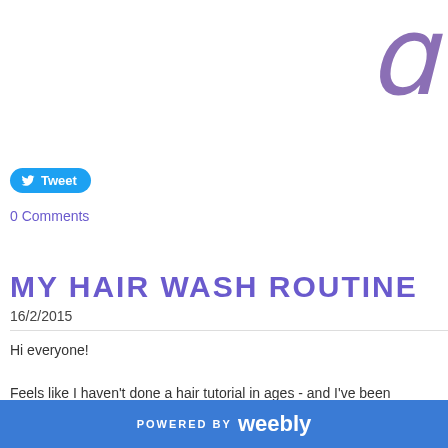[Figure (logo): Decorative cursive letter 'a' or similar in purple, top right corner]
[Figure (other): Twitter Tweet button in blue with bird icon]
0 Comments
MY HAIR WASH ROUTINE
16/2/2015
Hi everyone!

Feels like I haven't done a hair tutorial in ages - and I've been meaning to do th... same routine for a while - this is my current go to tips which I do when I wash m... this current routine has been my favourite so far. The tips that I've gathered to... tried out in the past! Lets get into it:
POWERED BY weebly